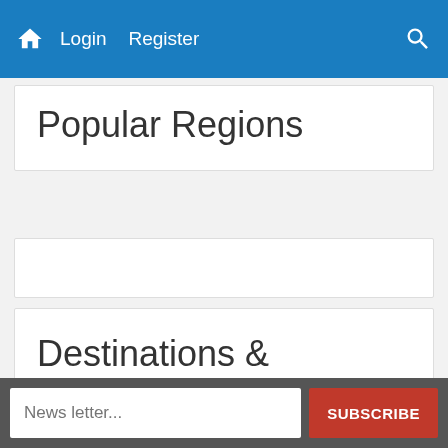Home Login Register [Search]
Popular Regions
Destinations & Attractions in Gujarat
Submit Destination
News letter... SUBSCRIBE